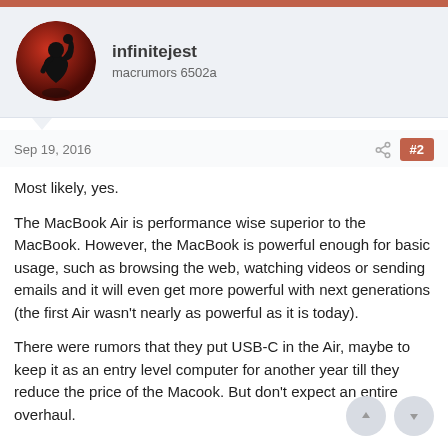[Figure (illustration): Circular avatar with silhouette of a person raising fist on red/dark background]
infinitejest
macrumors 6502a
Sep 19, 2016
#2
Most likely, yes.
The MacBook Air is performance wise superior to the MacBook. However, the MacBook is powerful enough for basic usage, such as browsing the web, watching videos or sending emails and it will even get more powerful with next generations (the first Air wasn't nearly as powerful as it is today).
There were rumors that they put USB-C in the Air, maybe to keep it as an entry level computer for another year till they reduce the price of the Macook. But don't expect an entire overhaul.